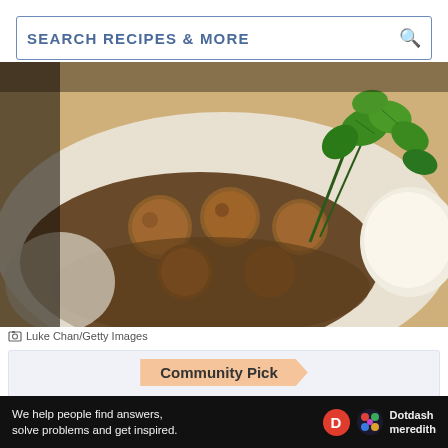SEARCH RECIPES & MORE
[Figure (photo): Close-up photo of meatballs in brown gravy with fresh parsley garnish on a white plate]
Luke Chan/Getty Images
Community Pick
17 RATINGS
Prep: 18  mins
Cook: 26  mins
Total: 44 mins (partial)
We help people find answers, solve problems and get inspired.  Dotdash meredith